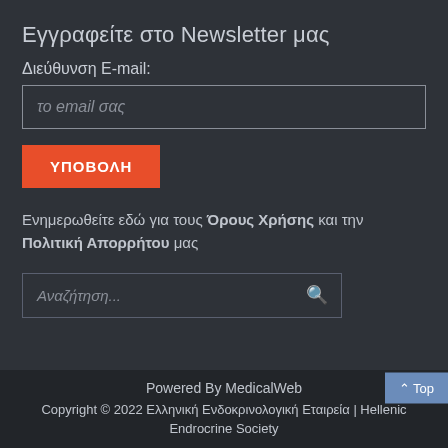Εγγραφείτε στο Newsletter μας
Διεύθυνση E-mail:
το email σας
ΥΠΟΒΟΛΗ
Ενημερωθείτε εδώ για τους Όρους Χρήσης και την Πολιτική Απορρήτου μας
Αναζήτηση...
Powered By MedicalWeb
Copyright © 2022 Ελληνική Ενδοκρινολογική Εταιρεία | Hellenic Endrocrine Society